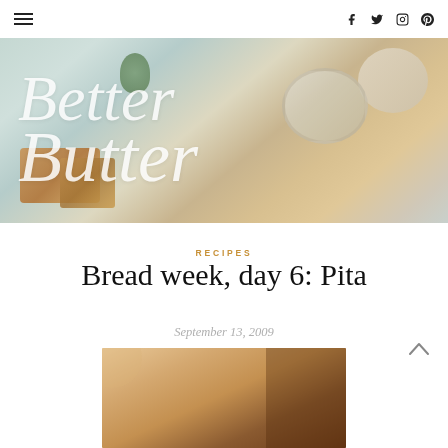Better with Butter — navigation bar with hamburger menu and social icons (Facebook, Twitter, Instagram, Pinterest)
[Figure (photo): Hero banner image showing food items (bread, dip bowls with herbs) with 'Better with Butter' script logo overlaid in white text]
RECIPES
Bread week, day 6: Pita
September 13, 2009
[Figure (photo): Partial food photograph visible at bottom of page, showing warm tones suggesting bread or dough]